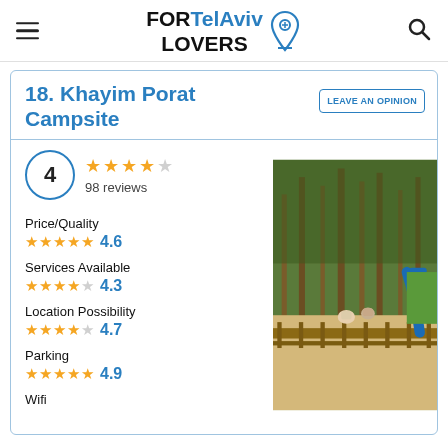FORTelAviv LOVERS
18. Khayim Porat Campsite
LEAVE AN OPINION
4 — 4 stars — 98 reviews
Price/Quality — 4.6
Services Available — 4.3
Location Possibility — 4.7
Parking — 4.9
Wifi
[Figure (photo): Outdoor campsite area with tall pine trees, sandy ground, wooden fence, and a blue playground slide visible in the background with people sitting nearby]